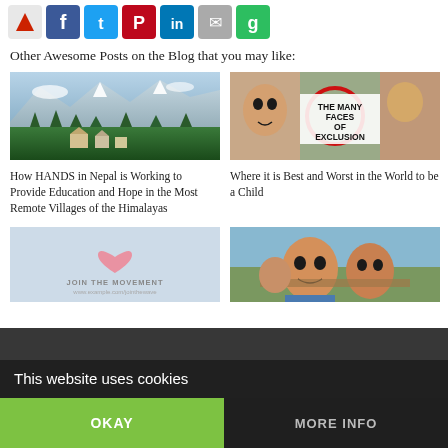[Figure (infographic): Social sharing icons: RSS/share, Facebook, Twitter, Pinterest, LinkedIn, Email, Google/other (green)]
Other Awesome Posts on the Blog that you may like:
[Figure (photo): Mountain village in the Himalayas with green forests and snow-capped peaks]
[Figure (infographic): Collage of children faces with text 'THE MANY FACES OF EXCLUSION' and red circle highlight]
How HANDS in Nepal is Working to Provide Education and Hope in the Most Remote Villages of the Himalayas
Where it is Best and Worst in the World to be a Child
[Figure (infographic): Join the Movement promotional image with pink heart on light blue background]
[Figure (photo): Children smiling outdoors in a developing country]
This website uses cookies
OKAY
MORE INFO